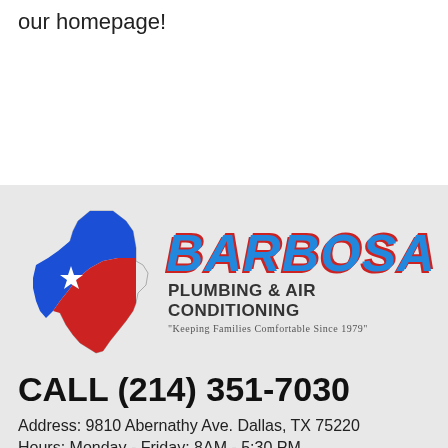our homepage!
[Figure (logo): Barbosa Plumbing & Air Conditioning logo featuring Texas state shape in red, white and blue with a star, and company name text]
CALL (214) 351-7030
Address: 9810 Abernathy Ave. Dallas, TX 75220
Hours: Monday - Friday: 8AM - 5:30 PM